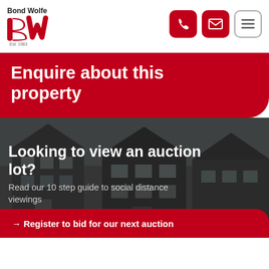[Figure (logo): Bond Wolfe logo with red stylized 'bw' letters and text 'Bond Wolfe' above, 'Est. 1983' below]
[Figure (infographic): Three navigation icon buttons: phone (red filled), envelope (red filled), hamburger menu (outlined)]
Enquire about this property
[Figure (photo): Dark semi-transparent photo of a residential house/building used as background for auction viewing section]
Looking to view an auction lot?
Read our 10 step guide to social distance viewings
→ Register to bid for our next auction